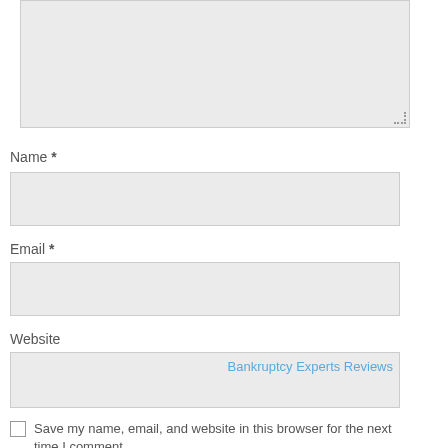[Figure (screenshot): A comment form textarea (large empty input box with resize handle in bottom-right corner), followed by form fields for Name, Email, and Website, a link 'Bankruptcy Experts Reviews' inside the Website field, and a checkbox with label 'Save my name, email, and website in this browser for the next time I comment.']
Name *
Email *
Website
Bankruptcy Experts Reviews
Save my name, email, and website in this browser for the next time I comment.